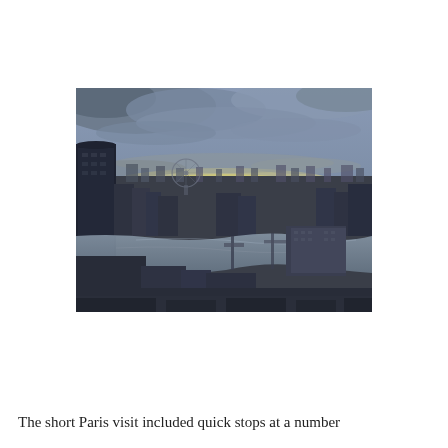[Figure (photo): Aerial view of London showing the River Thames winding through the city, with the London Eye visible in the background, tall buildings including a dark skyscraper on the left, bridges spanning the river, and a dramatic cloudy sky with a yellow-orange glow near the horizon at dusk or dawn.]
The short Paris visit included quick stops at a number